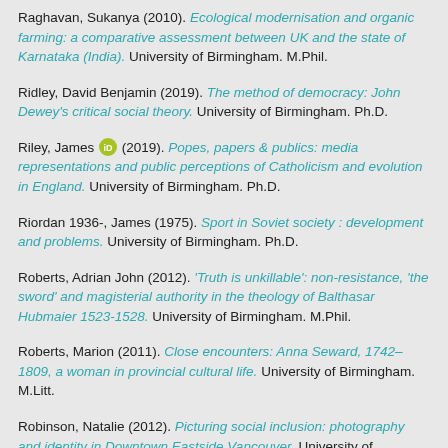Raghavan, Sukanya (2010). Ecological modernisation and organic farming: a comparative assessment between UK and the state of Karnataka (India). University of Birmingham. M.Phil.
Ridley, David Benjamin (2019). The method of democracy: John Dewey's critical social theory. University of Birmingham. Ph.D.
Riley, James [ORCID] (2019). Popes, papers & publics: media representations and public perceptions of Catholicism and evolution in England. University of Birmingham. Ph.D.
Riordan 1936-, James (1975). Sport in Soviet society : development and problems. University of Birmingham. Ph.D.
Roberts, Adrian John (2012). 'Truth is unkillable': non-resistance, 'the sword' and magisterial authority in the theology of Balthasar Hubmaier 1523-1528. University of Birmingham. M.Phil.
Roberts, Marion (2011). Close encounters: Anna Seward, 1742–1809, a woman in provincial cultural life. University of Birmingham. M.Litt.
Robinson, Natalie (2012). Picturing social inclusion: photography and identity in Downtown Eastside Vancouver. University of Birmingham. M.Phil.
Rogan, Frances (2018). Social media, bedroom cultures and